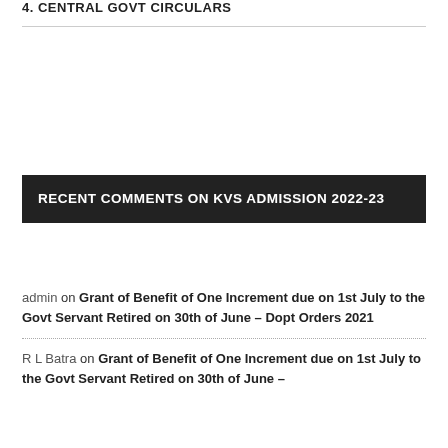4. CENTRAL GOVT CIRCULARS
RECENT COMMENTS ON KVS ADMISSION 2022-23
admin on Grant of Benefit of One Increment due on 1st July to the Govt Servant Retired on 30th of June – Dopt Orders 2021
R L Batra on Grant of Benefit of One Increment due on 1st July to the Govt Servant Retired on 30th of June –